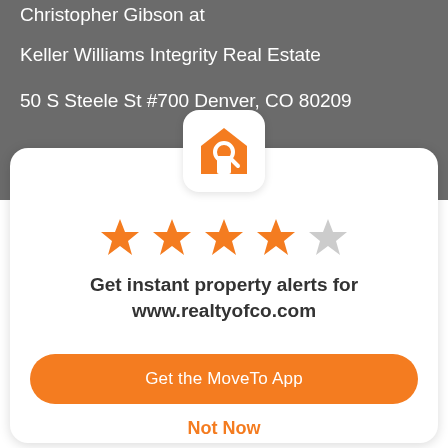Christopher Gibson at
Keller Williams Integrity Real Estate
50 S Steele St #700 Denver, CO 80209
[Figure (logo): House with magnifying glass logo in orange on white rounded square background]
[Figure (other): 4 out of 5 stars rating — four orange filled stars and one gray star]
Get instant property alerts for www.realtyofco.com
Get the MoveTo App
Not Now